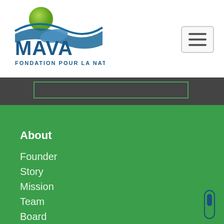[Figure (logo): MAVA Fondation Pour La Nature logo with green circle, blue wave, and blue text]
[Figure (other): Hamburger menu button with three horizontal lines]
[Figure (other): Search input box outline on dark bar]
About
Founder
Story
Mission
Team
Board
FAQ Closing
Contact